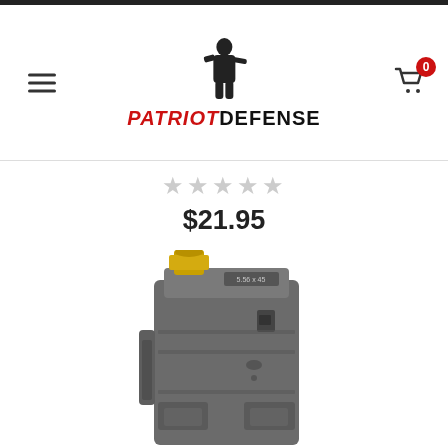[Figure (logo): Patriot Defense logo with soldier silhouette and red/black text]
★★★★★ (empty stars rating)
$21.95
[Figure (photo): Gray polymer AR-15 magazine (5.56x45 caliber) with a brass cartridge loaded at the top, angled view showing textured body and Magpul-style ribbing]